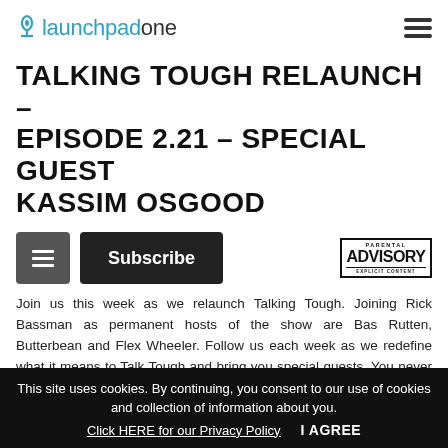launchpadone
TALKING TOUGH RELAUNCH - EPISODE 2.21 - SPECIAL GUEST KASSIM OSGOOD
[Figure (logo): Parental Advisory Explicit Content badge]
Join us this week as we relaunch Talking Tough. Joining Rick Bassman as permanent hosts of the show are Bas Rutten, Butterbean and Flex Wheeler. Follow us each week as we redefine what it means to Talk Tough and bring you special guests. You never know who might pop in for a surprise visit.
This site uses cookies. By continuing, you consent to our use of cookies and collection of information about you. Click HERE for our Privacy Policy   I AGREE